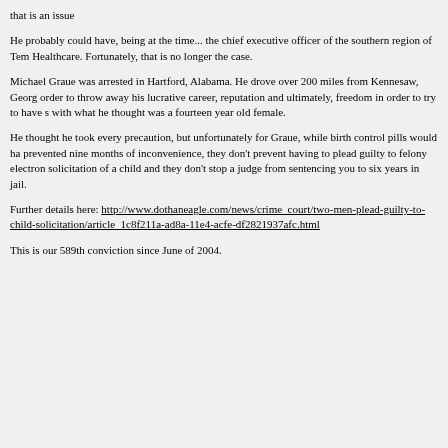that is an issue
He probably could have, being at the time... the chief executive officer of the southern region of Tem Healthcare. Fortunately, that is no longer the case.
Michael Graue was arrested in Hartford, Alabama. He drove over 200 miles from Kennesaw, Georg order to throw away his lucrative career, reputation and ultimately, freedom in order to try to have s with what he thought was a fourteen year old female.
He thought he took every precaution, but unfortunately for Graue, while birth control pills would h prevented nine months of inconvenience, they don't prevent having to plead guilty to felony electro solicitation of a child and they don't stop a judge from sentencing you to six years in jail.
Further details here: http://www.dothaneagle.com/news/crime_court/two-men-plead-guilty-to-child-solicitation/article_1c8f211a-ad8a-11e4-acfe-df2821937afc.html
This is our 589th conviction since June of 2004.